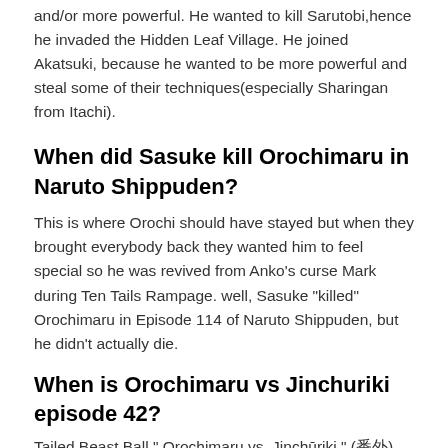and/or more powerful. He wanted to kill Sarutobi,hence he invaded the Hidden Leaf Village. He joined Akatsuki, because he wanted to be more powerful and steal some of their techniques(especially Sharingan from Itachi).
When did Sasuke kill Orochimaru in Naruto Shippuden?
This is where Orochi should have stayed but when they brought everybody back they wanted him to feel special so he was revived from Anko’s curse Mark during Ten Tails Rampage. well, Sasuke “killed” Orochimaru in Episode 114 of Naruto Shippuden, but he didn’t actually die.
When is Orochimaru vs Jinchuriki episode 42?
Tailed Beast Ball,” Orochimaru vs. Jinchūriki,” (番外)(S...